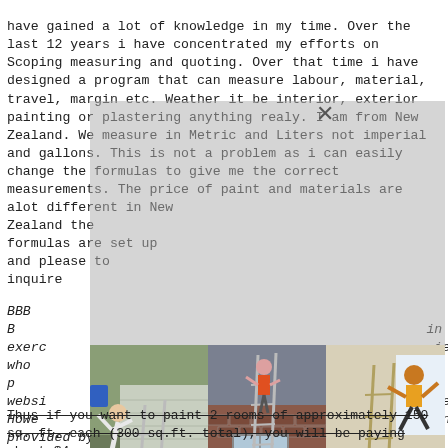have gained a lot of knowledge in my time. Over the last 12 years i have concentrated my efforts on Scoping measuring and quoting. Over that time i have designed a program that can measure labour, material, travel, margin etc. Weather it be interior, exterior painting or plastering anything realy. I am from New Zealand. We measure in Metric and Liters not imperial and gallons. This is not a problem as i can easily change the formulas to give me the correct measurements. The price of paint and materials are alot different in New Zealand the formulas are set up and please to inquire BBB B... in exercising... ies who p... his websi... te. However... on provided by third parties, and does not guarantee the accuracy of any information in Business Profiles. House Painting Broomfield CO
[Figure (photo): Three side-by-side photos related to painting/ladders: left photo shows a person falling off a ladder near a house with white siding; center photo shows a person on a ladder painting a brick house; right photo shows a person on a ladder doing exercises indoors.]
Thus if you want to paint 2 rooms of approximately 150 sq. ft. each (300 sq.ft. total), you will be paying about $4 per sq.